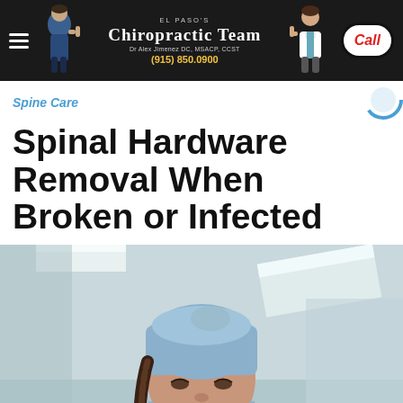El Paso's Chiropractic Team | Dr Alex Jimenez DC, MSACP, CCST | (915) 850.0900 | Call
Spine Care
Spinal Hardware Removal When Broken or Infected
[Figure (photo): A female surgeon in teal scrubs and a blue surgical cap looking downward, photographed from a low angle in a hospital operating room setting.]